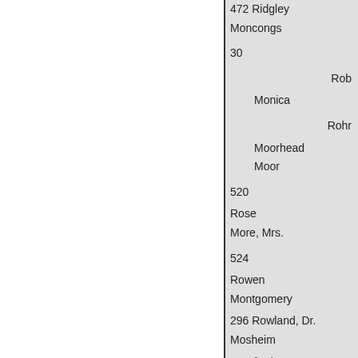472 Ridgley
Moncongs
30
Rob
 Monica
Rohr
 Moorhead
 Moor
520
Rose
More, Mrs.
524
Rowen
Montgomery
296 Rowland, Dr.
Mosheim
Rumford, Count
Muir
327